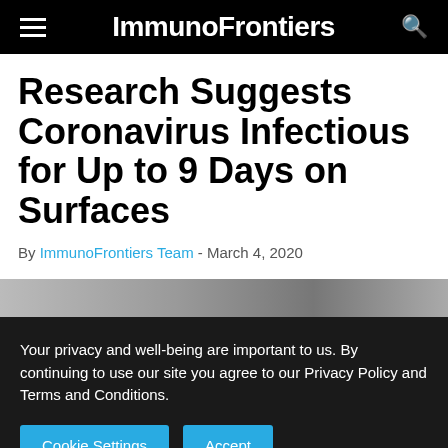ImmunoFrontiers
Research Suggests Coronavirus Infectious for Up to 9 Days on Surfaces
By ImmunoFrontiers Team - March 4, 2020
[Figure (photo): Partial photo strip visible beneath article byline]
Your privacy and well-being are important to us. By continuing to use our site you agree to our Privacy Policy and Terms and Conditions.
Cookie Settings   Accept